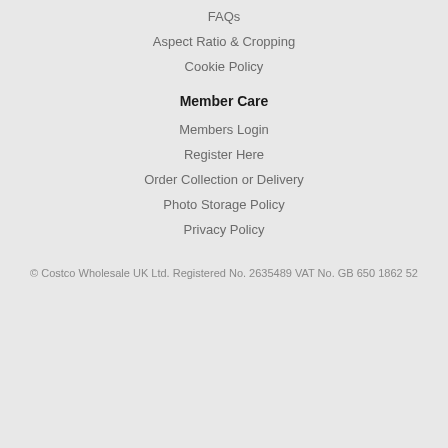FAQs
Aspect Ratio & Cropping
Cookie Policy
Member Care
Members Login
Register Here
Order Collection or Delivery
Photo Storage Policy
Privacy Policy
© Costco Wholesale UK Ltd. Registered No. 2635489 VAT No. GB 650 1862 52